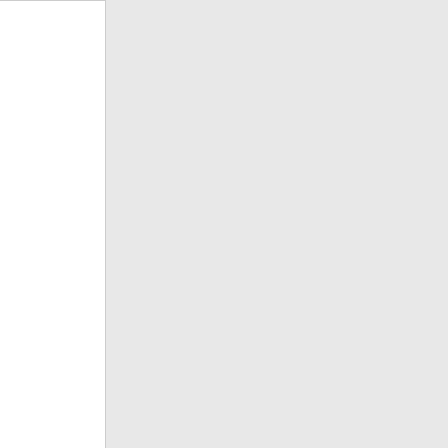| Phone | State | Carrier | Number | Extra |
| --- | --- | --- | --- | --- |
| 843-456-1 | SC | DELTACOM, INC. - SC | 4621 |  |
| 843-456-2 | SC | DELTACOM, INC. - SC | 4621 |  |